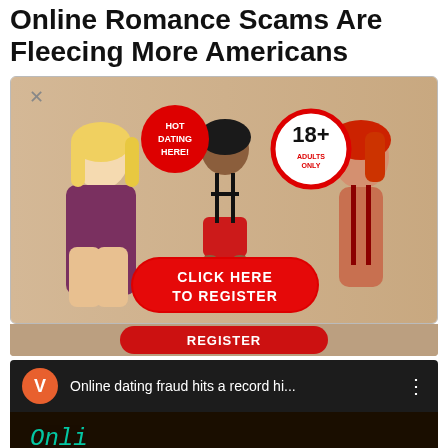Online Romance Scams Are Fleecing More Americans
[Figure (screenshot): A popup advertisement for an adult dating site featuring three women in revealing clothing, a red '18+ Adults Only' badge, a 'HOT DATING HERE!' badge, and a red 'CLICK HERE TO REGISTER' button. There is an X close button in the top left corner.]
[Figure (screenshot): A video thumbnail bar showing an orange 'V' icon, the text 'Online dating fraud hits a record hi...' in white on dark background, and a three-dot menu icon. Below is a dark image with teal/cyan text showing 'Onli...' (partial).]